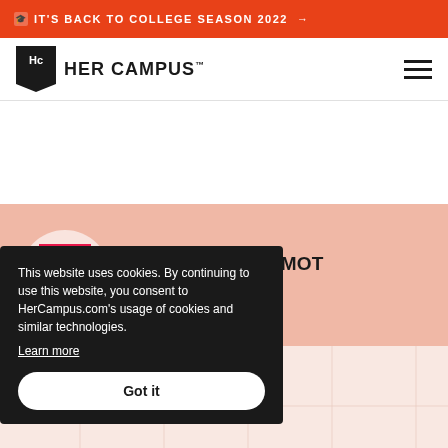🎓 IT'S BACK TO COLLEGE SEASON 2022 →
[Figure (logo): Her Campus logo with HC badge and wordmark]
[Figure (photo): White advertisement spacer area]
[Figure (illustration): Profile section with HC badge avatar, name KATLYN VUILLEMOT, school MSU on salmon background]
KATLYN VUILLEMOT
MSU
This website uses cookies. By continuing to use this website, you consent to HerCampus.com's usage of cookies and similar technologies.
Learn more
Got it